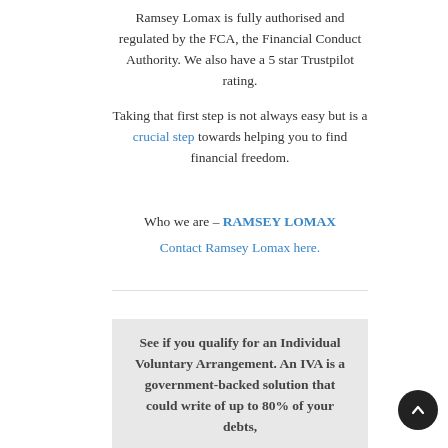Ramsey Lomax is fully authorised and regulated by the FCA, the Financial Conduct Authority. We also have a 5 star Trustpilot rating.
Taking that first step is not always easy but is a crucial step towards helping you to find financial freedom.
Who we are – RAMSEY LOMAX
Contact Ramsey Lomax here.
See if you qualify for an Individual Voluntary Arrangement. An IVA is a government-backed solution that could write of up to 80% of your debts,